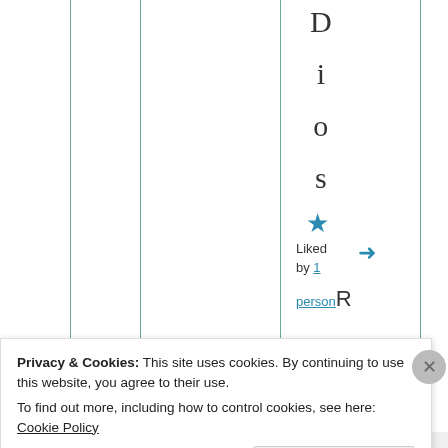[Figure (screenshot): Website page showing vertical column lines with letters D, i, o, s spelling 'Dios', a blue star icon, 'Liked by 1 person' text with a blue reply arrow, and partial 'Repl' text on the right side.]
Liked by 1 person
Privacy & Cookies: This site uses cookies. By continuing to use this website, you agree to their use.
To find out more, including how to control cookies, see here: Cookie Policy
Close and accept